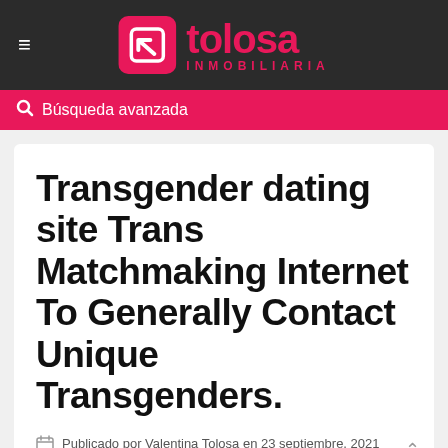≡  tolosa INMOBILIARIA
🔍 Búsqueda avanzada
Transgender dating site Trans Matchmaking Internet To Generally Contact Unique Transgenders.
Publicado por Valentina Tolosa en 23 septiembre, 2021